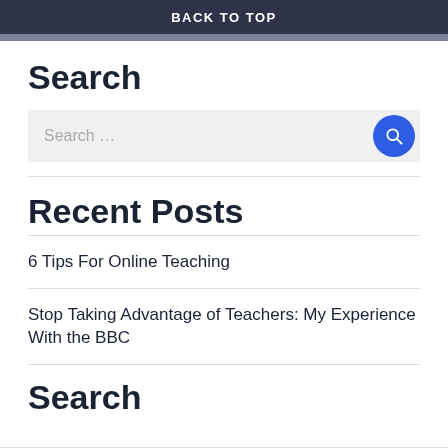BACK TO TOP
Search
[Figure (screenshot): Search input box with placeholder text 'Search ...' and a blue circular search button with magnifying glass icon]
Recent Posts
6 Tips For Online Teaching
Stop Taking Advantage of Teachers: My Experience With the BBC
Search